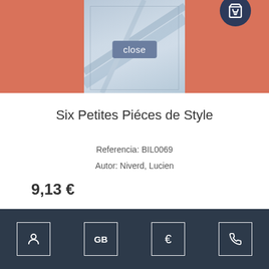[Figure (screenshot): Top coral/salmon background header with a partial book cover image and a 'close' button overlay]
Six Petites Piéces de Style
Referencia: BIL0069
Autor: Niverd, Lucien
9,13 €
[Figure (illustration): Dark blue circular cart/add button with shopping cart icon]
NEW
[Figure (illustration): Partial book cover with BILLAUDOT text at bottom, light blue-grey gradient]
[Figure (illustration): Dark blue circular scroll-up button with chevron icon]
Navigation bar with user icon, GB, €, and phone icon buttons